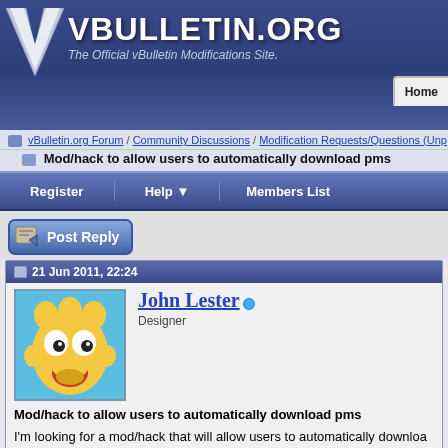vBulletin.org — The Official vBulletin Modifications Site.
vBulletin.org Forum / Community Discussions / Modification Requests/Questions (Unp... > Mod/hack to allow users to automatically download pms
Register  Help  Members List
Post Reply
21 Jun 2011, 22:24
John Lester — Designer
Mod/hack to allow users to automatically download pms
I'm looking for a mod/hack that will allow users to automatically downloa...
21 Jun 2011, 23:23
CK — Member